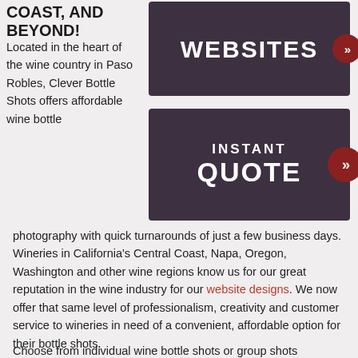COAST, AND BEYOND!
[Figure (illustration): Dark purple/maroon banner button with white bold text reading WEBSITES and a red circular arrow icon on the right]
Located in the heart of the wine country in Paso Robles, Clever Bottle Shots offers affordable wine bottle photography with quick turnarounds of just a few business days.  Wineries in California's Central Coast, Napa, Oregon, Washington and other wine regions know us for our great reputation in the wine industry for our website designs.  We now offer that same level of professionalism, creativity and customer service to wineries in need of a convenient, affordable option for their bottle shots.
[Figure (illustration): Dark purple/maroon banner button with white bold text reading INSTANT QUOTE and a red circular arrow icon on the right]
Choose from individual wine bottle shots or group shots